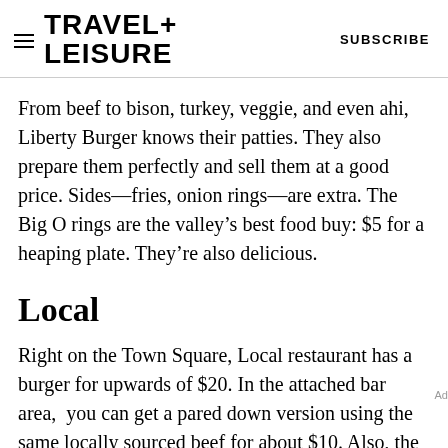TRAVEL+ LEISURE   SUBSCRIBE
From beef to bison, turkey, veggie, and even ahi, Liberty Burger knows their patties. They also prepare them perfectly and sell them at a good price. Sides—fries, onion rings—are extra. The Big O rings are the valley’s best food buy: $5 for a heaping plate. They’re also delicious.
Local
Right on the Town Square, Local restaurant has a burger for upwards of $20. In the attached bar area, you can get a pared down version using the same locally sourced beef for about $10. Also, the bar, U-